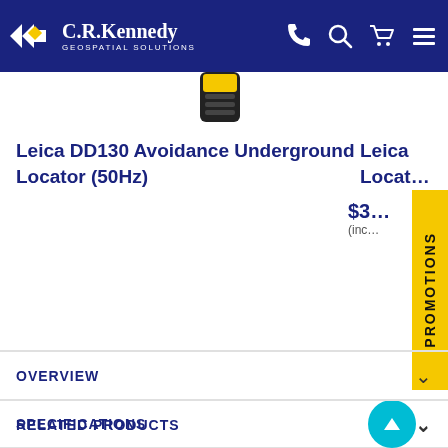C.R.Kennedy GEOSPATIAL SOLUTIONS
[Figure (photo): Product image of Leica DD130 underground locator device (black and yellow device), partially visible at top of card]
Leica DD130 Avoidance Underground Locator (50Hz)
Leica Locat…
[Figure (other): PROMOTIONS vertical yellow tab on the right edge of the page]
$3…
(inc…
OVERVIEW
SPECIFICATIONS
RELATED PRODUCTS